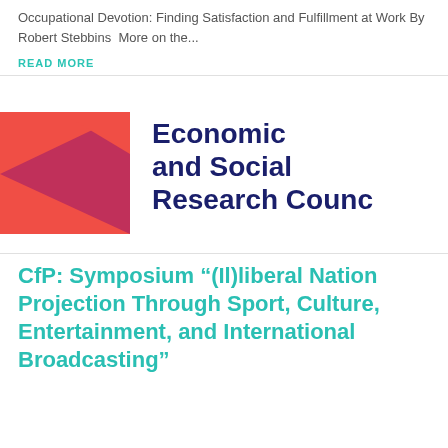Occupational Devotion: Finding Satisfaction and Fulfillment at Work By Robert Stebbins  More on the...
READ MORE
[Figure (logo): Economic and Social Research Council (ESRC) logo with red and magenta geometric arrow shape on the left and bold dark blue text on the right]
CfP: Symposium “(Il)liberal Nation Projection Through Sport, Culture, Entertainment, and International Broadcasting”